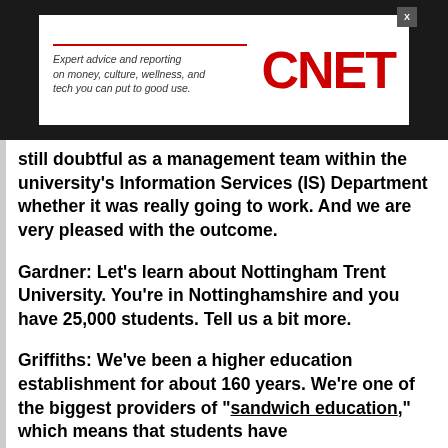[Figure (logo): CNET advertisement banner with text 'Expert advice and reporting on money, culture, wellness, and tech you can put to good use.' and CNET logo in red on white background, set against dark background bar]
still doubtful as a management team within the university's Information Services (IS) Department whether it was really going to work. And we are very pleased with the outcome.
Gardner: Let’s learn about Nottingham Trent University. You’re in Nottinghamshire and you have 25,000 students. Tell us a bit more.
Griffiths: We’ve been a higher education establishment for about 160 years. We’re one of the biggest providers of “sandwich education,” which means that students have